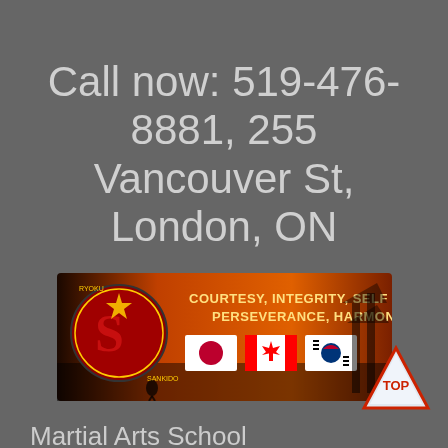Call now: 519-476-8881, 255 Vancouver St, London, ON
[Figure (logo): Ryoku Sankido martial arts school banner with logo, text 'Courtesy, Integrity, Self Control Perseverance, Harmony' and Japanese, Canadian, Korean flags on orange/red background]
Martial Arts School
Address: 255 Vancouver St, London, ON (In Gym of St Pius X)
Call: (519) 476-8881
[Figure (logo): TOP triangle logo button in bottom right corner]